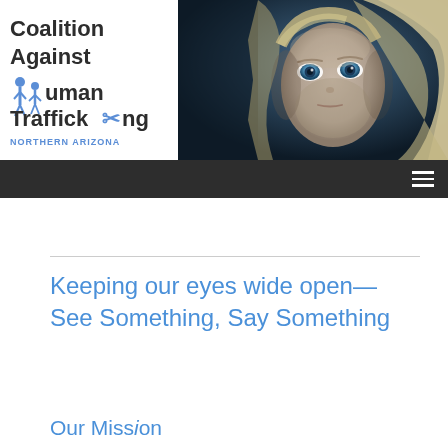[Figure (logo): Coalition Against Human Trafficking Northern Arizona logo with two figure silhouettes icon in blue]
[Figure (photo): Close-up photograph of a young blonde child with blue eyes looking directly at the camera against a dark background]
Keeping our eyes wide open—See Something, Say Something
Our Mission